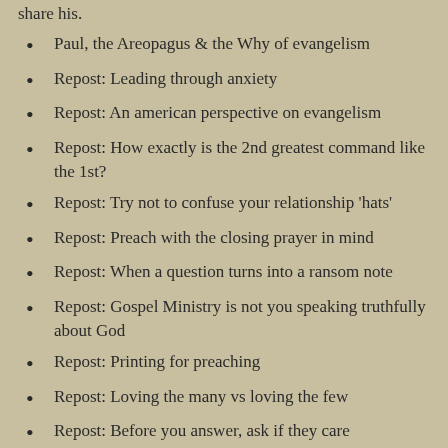share his.
Paul, the Areopagus & the Why of evangelism
Repost: Leading through anxiety
Repost: An american perspective on evangelism
Repost: How exactly is the 2nd greatest command like the 1st?
Repost: Try not to confuse your relationship 'hats'
Repost: Preach with the closing prayer in mind
Repost: When a question turns into a ransom note
Repost: Gospel Ministry is not you speaking truthfully about God
Repost: Printing for preaching
Repost: Loving the many vs loving the few
Repost: Before you answer, ask if they care
#Nexus2015 – Cross Shaped Ministry – What was missing…